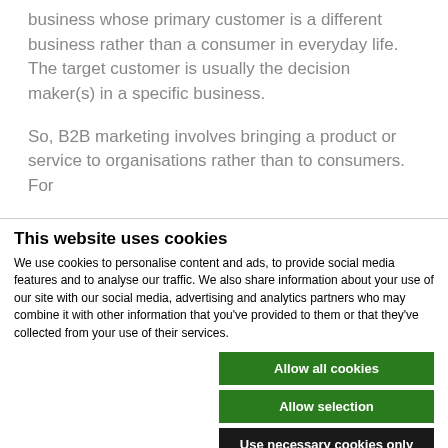business whose primary customer is a different business rather than a consumer in everyday life. The target customer is usually the decision maker(s) in a specific business.
So, B2B marketing involves bringing a product or service to organisations rather than to consumers. For
This website uses cookies
We use cookies to personalise content and ads, to provide social media features and to analyse our traffic. We also share information about your use of our site with our social media, advertising and analytics partners who may combine it with other information that you've provided to them or that they've collected from your use of their services.
Allow all cookies
Allow selection
Use necessary cookies only
Necessary  Preferences  Statistics  Marketing  Show details